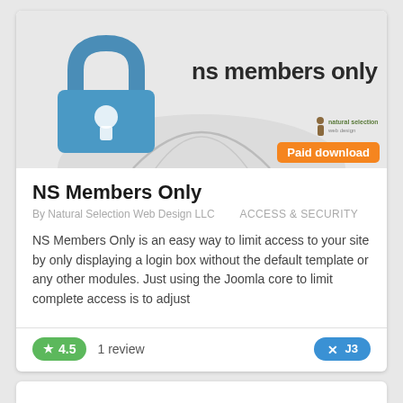[Figure (screenshot): Plugin listing card for NS Members Only Joomla extension. Top section shows a blue padlock icon on a grey road background with the text 'ns members only'. An orange 'Paid download' badge and a Natural Selection logo appear in the bottom right of the image area.]
NS Members Only
By Natural Selection Web Design LLC    ACCESS & SECURITY
NS Members Only is an easy way to limit access to your site by only displaying a login box without the default template or any other modules. Just using the Joomla core to limit complete access is to adjust
4.5   1 review   J3